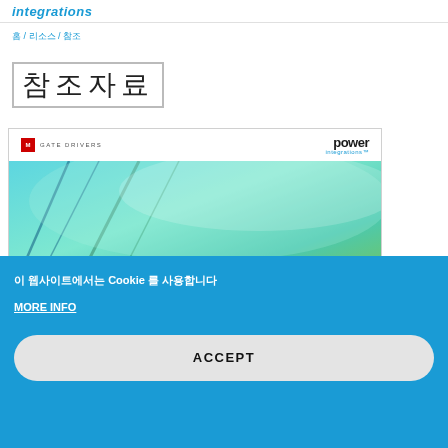integrations
홈 / 리소스 / 참조
참조자료
[Figure (screenshot): Document thumbnail showing Power Integrations gate drivers document cover with teal/green gradient image and logos]
이 웹사이트에서는 Cookie 를 사용합니다
MORE INFO
ACCEPT